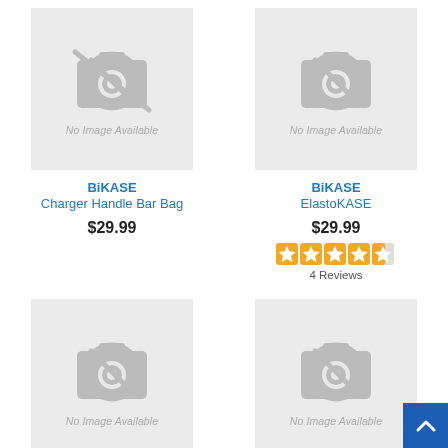[Figure (photo): No image available placeholder for BiKASE Charger Handle Bar Bag]
BiKASE
Charger Handle Bar Bag
$29.99
[Figure (photo): No image available placeholder for BiKASE ElastoKASE]
BiKASE
ElastoKASE
$29.99
[Figure (other): Star rating: 4.5 out of 5]
4 Reviews
[Figure (photo): No image available placeholder (bottom left)]
[Figure (photo): No image available placeholder (bottom right)]